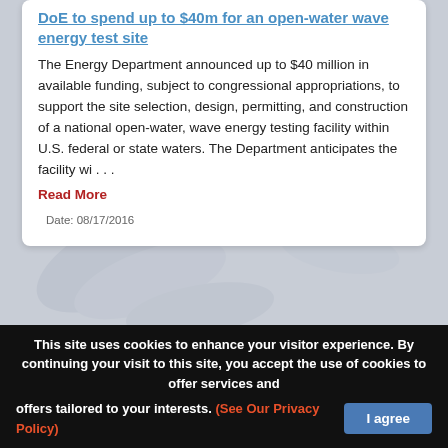DoE to spend up to $40m for an open-water wave energy test site
The Energy Department announced up to $40 million in available funding, subject to congressional appropriations, to support the site selection, design, permitting, and construction of a national open-water, wave energy testing facility within U.S. federal or state waters. The Department anticipates the facility wi . . .
Read More
Date: 08/17/2016
[Figure (map): Wind Energy Areas (WEAs) - North Carolina map showing coastal wind energy areas off the North Carolina coast with grid overlay and labeled area NJ 1917 Currituck Sound]
This site uses cookies to enhance your visitor experience. By continuing your visit to this site, you accept the use of cookies to offer services and offers tailored to your interests. (See Our Privacy Policy)